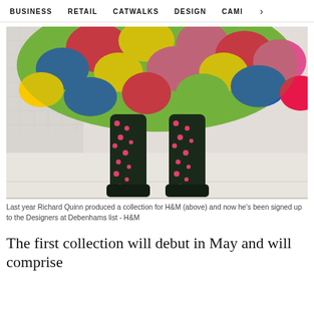BUSINESS   RETAIL   CATWALKS   DESIGN   CAMI   >
[Figure (photo): Fashion photo showing lower body of a model wearing a colorful floral patterned dress/skirt (green, yellow, red, blue, pink flowers) and black floral patterned tights/boots, on a white/cream floor with a light background.]
Last year Richard Quinn produced a collection for H&M (above) and now he's been signed up to the Designers at Debenhams list - H&M
The first collection will debut in May and will comprise